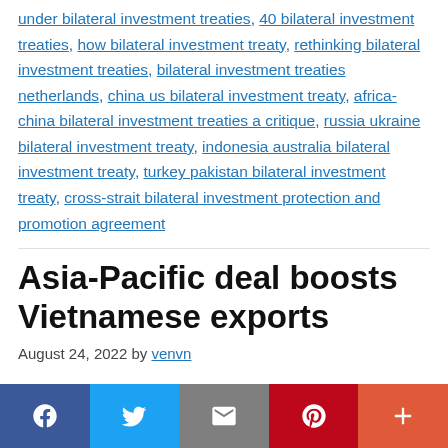under bilateral investment treaties, 40 bilateral investment treaties, how bilateral investment treaty, rethinking bilateral investment treaties, bilateral investment treaties netherlands, china us bilateral investment treaty, africa-china bilateral investment treaties a critique, russia ukraine bilateral investment treaty, indonesia australia bilateral investment treaty, turkey pakistan bilateral investment treaty, cross-strait bilateral investment protection and promotion agreement
Asia-Pacific deal boosts Vietnamese exports
August 24, 2022 by venvn